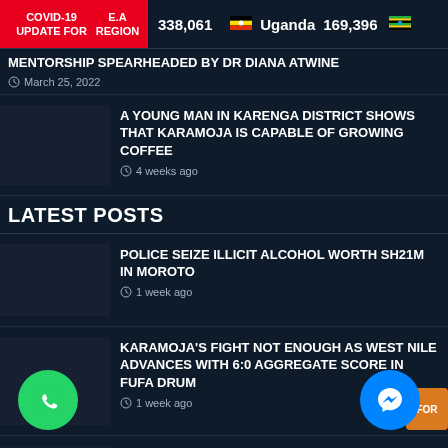COVID-19 UPDATE FOR E.A REGION | 338,061 | Uganda 169,396
MENTORSHIP SPEARHEADED BY DR DIANA ATWINE
March 25, 2022
A YOUNG MAN IN KARENGA DISTRICT SHOWS THAT KARAMOJA IS CAPABLE OF GROWING COFFEE
4 weeks ago
LATEST POSTS
POLICE SEIZE ILLICIT ALCOHOL WORTH SH21M IN MOROTO
1 week ago
KARAMOJA'S FIGHT NOT ENOUGH AS WEST NILE ADVANCES WITH 6:0 AGGREGATE SCORE IN FUFA DRUM
1 week ago
WEST NILE PROVINCE TEAM IN KARAMOJA FOR RETURN LEG OF FUFA DRUM